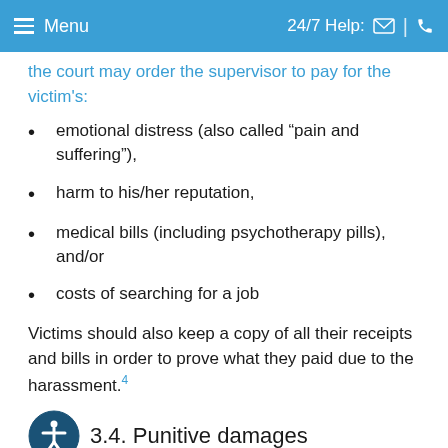Menu  24/7 Help:
the court may order the supervisor to pay for the victim's:
emotional distress (also called “pain and suffering”),
harm to his/her reputation,
medical bills (including psychotherapy pills), and/or
costs of searching for a job
Victims should also keep a copy of all their receipts and bills in order to prove what they paid due to the harassment.4
3.4. Punitive damages